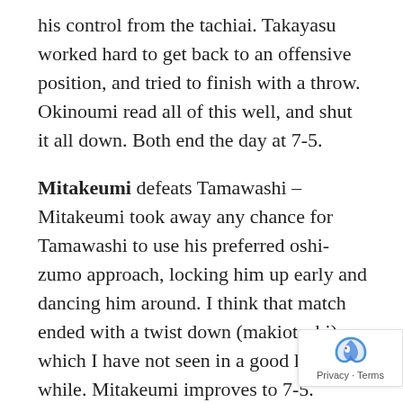his control from the tachiai. Takayasu worked hard to get back to an offensive position, and tried to finish with a throw. Okinoumi read all of this well, and shut it all down. Both end the day at 7-5.
Mitakeumi defeats Tamawashi – Mitakeumi took away any chance for Tamawashi to use his preferred oshi-zumo approach, locking him up early and dancing him around. I think that match ended with a twist down (makiotoshi), which I have not seen in a good long while. Mitakeumi improves to 7-5.
Takanosho defeats Endo – Endo's opening gambit fell apart today, and it was all Takanosho after that. At one point Takanosho